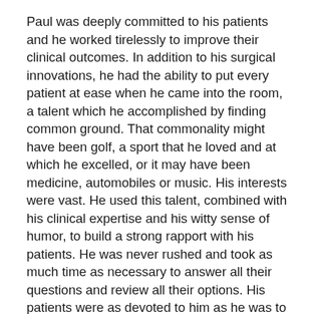Paul was deeply committed to his patients and he worked tirelessly to improve their clinical outcomes. In addition to his surgical innovations, he had the ability to put every patient at ease when he came into the room, a talent which he accomplished by finding common ground. That commonality might have been golf, a sport that he loved and at which he excelled, or it may have been medicine, automobiles or music. His interests were vast. He used this talent, combined with his clinical expertise and his witty sense of humor, to build a strong rapport with his patients. He was never rushed and took as much time as necessary to answer all their questions and review all their options. His patients were as devoted to him as he was to them.
Paul's philosophy of life was deeply rooted in his childhood up bringing and the influence of his physician father. His farm experience reflected his...